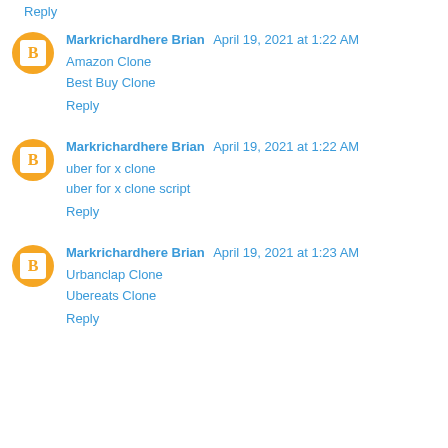Reply
Markrichardhere Brian  April 19, 2021 at 1:22 AM
Amazon Clone
Best Buy Clone
Reply
Markrichardhere Brian  April 19, 2021 at 1:22 AM
uber for x clone
uber for x clone script
Reply
Markrichardhere Brian  April 19, 2021 at 1:23 AM
Urbanclap Clone
Ubereats Clone
Reply